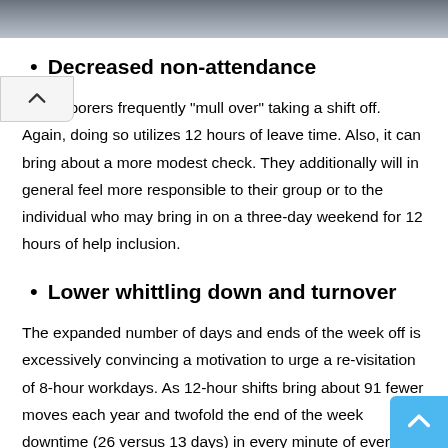[Figure (photo): Top portion of a photo of people, partially cropped, showing a dark clothing scene outdoors.]
Decreased non-attendance
Shift laborers frequently “mull over” taking a shift off. Again, doing so utilizes 12 hours of leave time. Also, it can bring about a more modest check. They additionally will in general feel more responsible to their group or to the individual who may bring in on a three-day weekend for 12 hours of help inclusion.
Lower whittling down and turnover
The expanded number of days and ends of the week off is excessively convincing a motivation to urge a re-visitation of 8-hour workdays. As 12-hour shifts bring about 91 fewer moves each year and twofold the end of the week downtime (26 versus 13 days) in every minute of everyday activities. In an